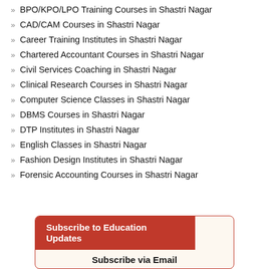BPO/KPO/LPO Training Courses in Shastri Nagar
CAD/CAM Courses in Shastri Nagar
Career Training Institutes in Shastri Nagar
Chartered Accountant Courses in Shastri Nagar
Civil Services Coaching in Shastri Nagar
Clinical Research Courses in Shastri Nagar
Computer Science Classes in Shastri Nagar
DBMS Courses in Shastri Nagar
DTP Institutes in Shastri Nagar
English Classes in Shastri Nagar
Fashion Design Institutes in Shastri Nagar
Forensic Accounting Courses in Shastri Nagar
Subscribe to Education Updates
Subscribe via Email